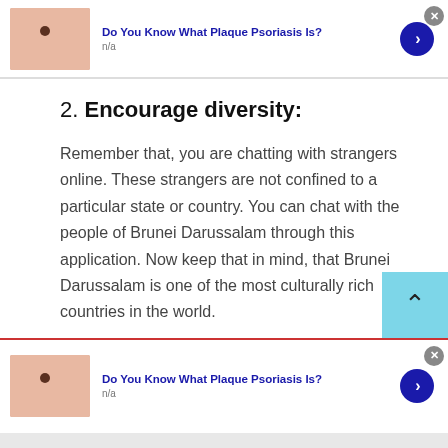[Figure (infographic): Ad banner: thumbnail of skin with mole, title 'Do You Know What Plaque Psoriasis Is?', n/a subtitle, blue arrow button, grey X close button]
2. Encourage diversity:
Remember that, you are chatting with strangers online. These strangers are not confined to a particular state or country. You can chat with the people of Brunei Darussalam through this application. Now keep that in mind, that Brunei Darussalam is one of the most culturally rich countries in the world.
[Figure (infographic): Ad banner: thumbnail of skin with mole, title 'Do You Know What Plaque Psoriasis Is?', n/a subtitle, blue arrow button, grey X close button]